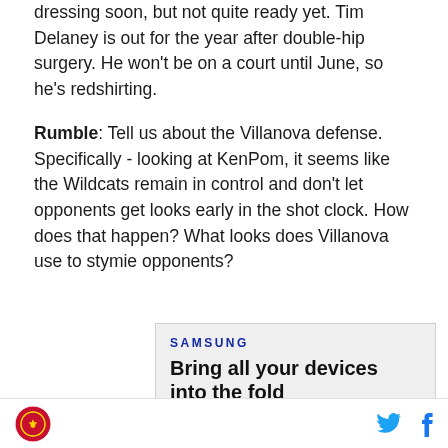dressing soon, but not quite ready yet. Tim Delaney is out for the year after double-hip surgery. He won't be on a court until June, so he's redshirting.
Rumble: Tell us about the Villanova defense. Specifically - looking at KenPom, it seems like the Wildcats remain in control and don't let opponents get looks early in the shot clock. How does that happen? What looks does Villanova use to stymie opponents?
[Figure (screenshot): Samsung advertisement: 'SAMSUNG' logo in blue, headline 'Bring all your devices into the fold', 'LEARN MORE' button with rounded border, and a partial image of people on a device screen]
Site logo icon | Twitter bird icon | Facebook f icon